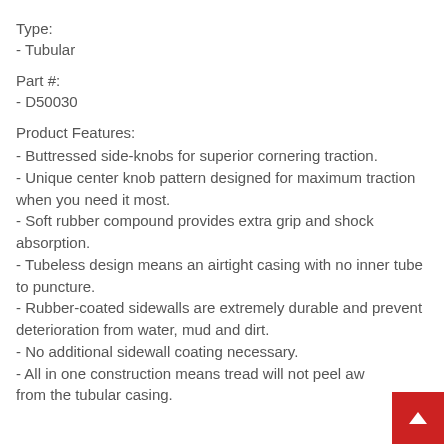Type:
- Tubular
Part #:
- D50030
Product Features:
- Buttressed side-knobs for superior cornering traction.
- Unique center knob pattern designed for maximum traction when you need it most.
- Soft rubber compound provides extra grip and shock absorption.
- Tubeless design means an airtight casing with no inner tube to puncture.
- Rubber-coated sidewalls are extremely durable and prevent deterioration from water, mud and dirt.
- No additional sidewall coating necessary.
- All in one construction means tread will not peel away from the tubular casing.